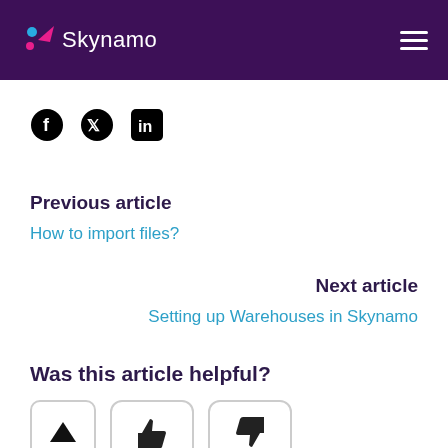Skynamo
[Figure (logo): Social media share icons: Facebook, Twitter, LinkedIn]
Previous article
How to import files?
Next article
Setting up Warehouses in Skynamo
Was this article helpful?
[Figure (illustration): Thumbs up and thumbs down buttons for article feedback]